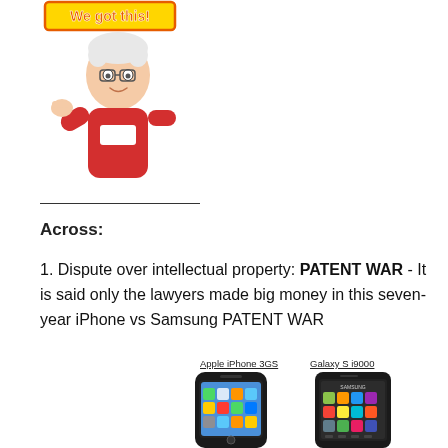[Figure (illustration): Cartoon bitmoji avatar of a person with white hair and glasses, wearing a red hoodie, raising a fist, with yellow 'We got this!' text above]
Across:
1. Dispute over intellectual property: PATENT WAR - It is said only the lawyers made big money in this seven-year iPhone vs Samsung PATENT WAR
[Figure (illustration): Side-by-side images of Apple iPhone 3GS and Samsung Galaxy S i9000 smartphones with labels]